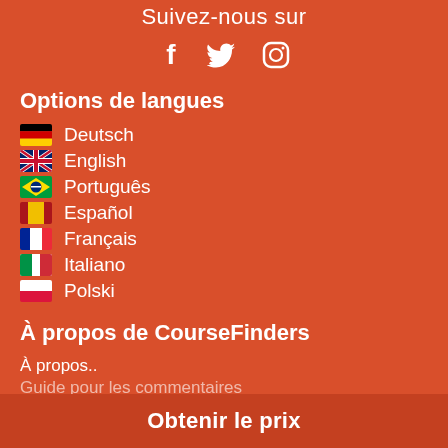Suivez-nous sur
[Figure (illustration): Social media icons: Facebook (f), Twitter (bird), Instagram (camera)]
Options de langues
Deutsch
English
Português
Español
Français
Italiano
Polski
À propos de CourseFinders
À propos..
Guide pour les commentaires
Obtenir le prix